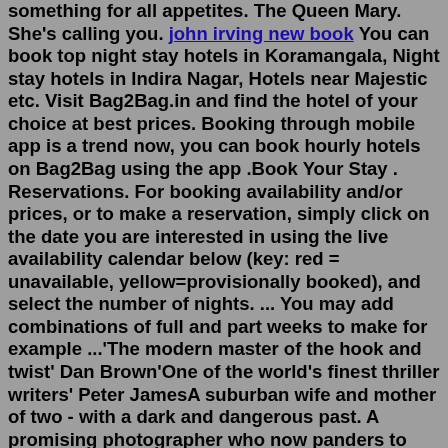something for all appetites. The Queen Mary. She's calling you. john irving new book You can book top night stay hotels in Koramangala, Night stay hotels in Indira Nagar, Hotels near Majestic etc. Visit Bag2Bag.in and find the hotel of your choice at best prices. Booking through mobile app is a trend now, you can book hourly hotels on Bag2Bag using the app .Book Your Stay . Reservations. For booking availability and/or prices, or to make a reservation, simply click on the date you are interested in using the live availability calendar below (key: red = unavailable, yellow=provisionally booked), and select the number of nights. ... You may add combinations of full and part weeks to make for example ...'The modern master of the hook and twist' Dan Brown'One of the world's finest thriller writers' Peter JamesA suburban wife and mother of two - with a dark and dangerous past. A promising photographer who now panders to celebrity-obsessed rich kids.A detective who can't let go of a cold case . . .Three ordinary people, who discover that when the past